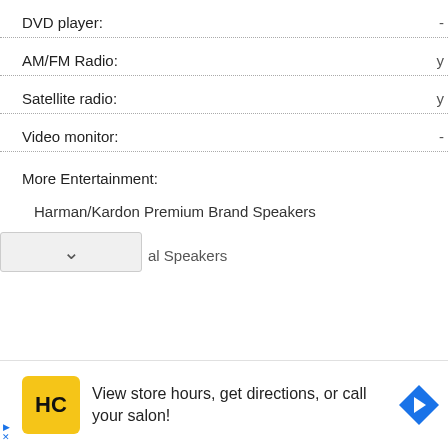DVD player: -
AM/FM Radio: y
Satellite radio: y
Video monitor: -
More Entertainment:
Harman/Kardon Premium Brand Speakers
[Figure (screenshot): Advertisement banner: HC logo (Harman/Kardon style salon), text 'View store hours, get directions, or call your salon!' with navigation arrow icon]